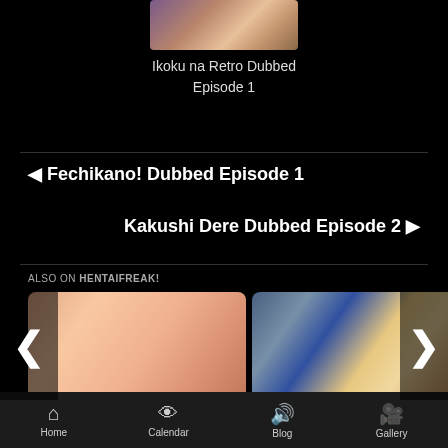[Figure (screenshot): Anime thumbnail image at top center]
Ikoku na Retro Dubbed
Episode 1
◄ Fechikano! Dubbed Episode 1
Kakushi Dere Dubbed Episode 2 ►
ALSO ON HENTAIFREAK!
[Figure (screenshot): Two anime content thumbnail images in a carousel with left and right navigation arrows]
Home  Calendar  Blog  Gallery